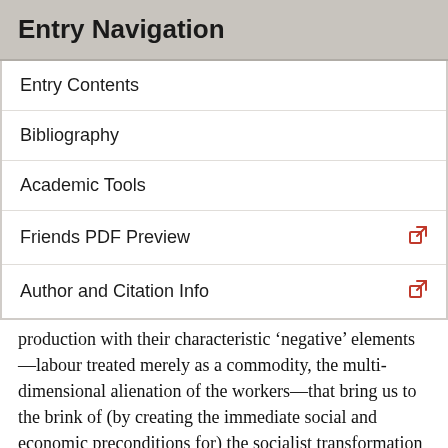Entry Navigation
Entry Contents
Bibliography
Academic Tools
Friends PDF Preview
Author and Citation Info
production with their characteristic ‘negative’ elements—labour treated merely as a commodity, the multi-dimensional alienation of the workers—that bring us to the brink of (by creating the immediate social and economic preconditions for) the socialist transformation of society. Indeed, the analogy might be pushed a little further: just as the socialist transformation of society remains anything but inevitable (Trotsky taught us that), Heidegger argues that the salvation-bringing transformation of the present condition of human being is most certainly not bound to occur.